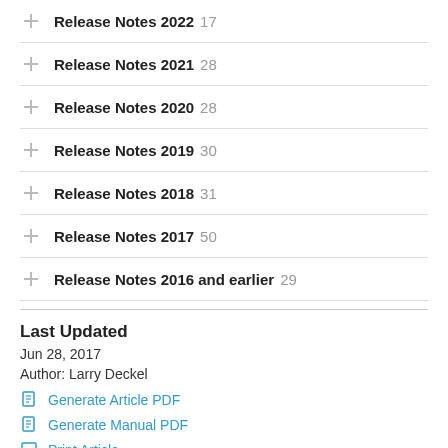Release Notes 2022  17
Release Notes 2021  28
Release Notes 2020  28
Release Notes 2019  30
Release Notes 2018  31
Release Notes 2017  50
Release Notes 2016 and earlier  29
Last Updated
Jun 28, 2017
Author: Larry Deckel
Generate Article PDF
Generate Manual PDF
Print Article